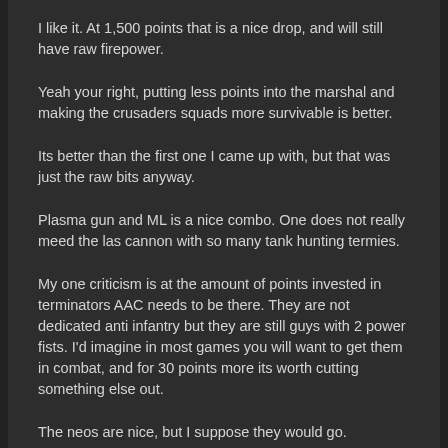I like it. At 1,500 points that is a nice drop, and will still have raw firepower.
Yeah your right, putting less points into the marshal and making the crusaders squads more survivable is better.
Its better than the first one I came up with, but that was just the raw bits anyway.
Plasma gun and ML is a nice combo. One does not really meed the las cannon with so many tank hunting termies.
My one criticism is at the amount of points invested in terminators AAC needs to be there. They are not dedicated anti infantry but they are still guys with 2 power fists. I'd imagine in most games you will want to get them in combat, and for 30 points more its worth cutting something else out.
The neos are nice, but I suppose they would go.
Now I am not sure on how the termies are going to do. I will